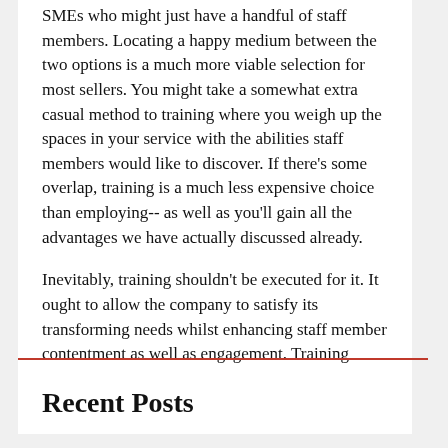SMEs who might just have a handful of staff members. Locating a happy medium between the two options is a much more viable selection for most sellers. You might take a somewhat extra casual method to training where you weigh up the spaces in your service with the abilities staff members would like to discover. If there's some overlap, training is a much less expensive choice than employing-- as well as you'll gain all the advantages we have actually discussed already.

Inevitably, training shouldn't be executed for it. It ought to allow the company to satisfy its transforming needs whilst enhancing staff member contentment as well as engagement. Training needs to be a great deal-- if you pick the best program.
Recent Posts